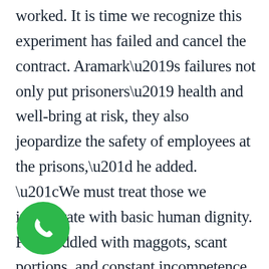worked. It is time we recognize this experiment has failed and cancel the contract. Aramark’s failures not only put prisoners’ health and well-bring at risk, they also jeopardize the safety of employees at the prisons,” he added. “We must treat those we incarcerate with basic human dignity. Food riddled with maggots, scant portions, and constant incompetence is simply unacceptable. We must demand better from the state.”

While that was strong condemnation of Aramark, by far the most strident opposition to the company occurred in Michigan, where union leaders eventually challenged the food service contractor and